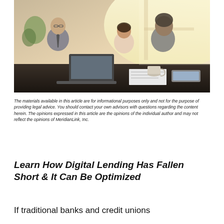[Figure (photo): A financial advisor (man in suit with glasses) sits across a desk from a couple, showing them something on a laptop. The couple is smiling and engaged. There are papers, a tablet device, and a coffee cup on the desk. Warm, bright office lighting.]
The materials available in this article are for informational purposes only and not for the purpose of providing legal advice. You should contact your own advisors with questions regarding the content herein. The opinions expressed in this article are the opinions of the individual author and may not reflect the opinions of MeridianLink, Inc.
Learn How Digital Lending Has Fallen Short & It Can Be Optimized
If traditional banks and credit unions want to compete with fintechs, they